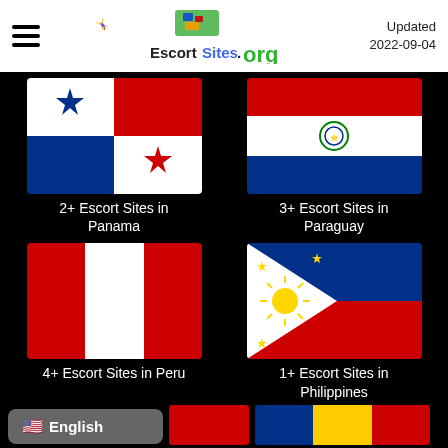EscortSites.org — Updated 2022-09-04
[Figure (illustration): Panama flag — red and white quadrants with blue stripes and two stars]
2+ Escort Sites in Panama
[Figure (illustration): Paraguay flag — red, white, blue horizontal stripes with coat of arms]
3+ Escort Sites in Paraguay
[Figure (illustration): Peru flag — red, white, red vertical stripes]
4+ Escort Sites in Peru
[Figure (illustration): Philippines flag — blue and red with white triangle and sun with stars]
1+ Escort Sites in Philippines
🇺🇸 English